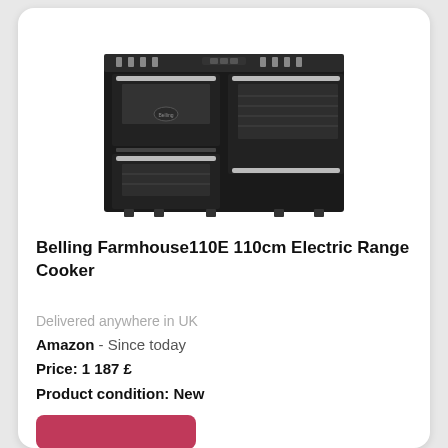[Figure (photo): Black Belling Farmhouse110E 110cm Electric Range Cooker with multiple ovens and chrome handles on a white background]
Belling Farmhouse110E 110cm Electric Range Cooker
Delivered anywhere in UK
Amazon  - Since today
Price: 1 187 £
Product condition: New